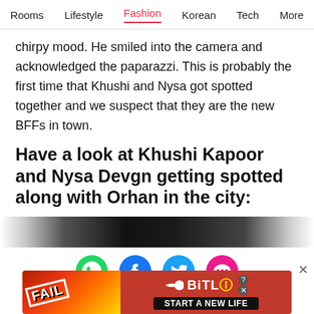Rooms  Lifestyle  Fashion  Korean  Tech  More
chirpy mood. He smiled into the camera and acknowledged the paparazzi. This is probably the first time that Khushi and Nysa got spotted together and we suspect that they are the new BFFs in town.
Have a look at Khushi Kapoor and Nysa Devgn getting spotted along with Orhan in the city:
[Figure (photo): Dark video/image strip showing a night scene with bright light sources]
[Figure (infographic): Social sharing icons: WhatsApp (green), Facebook (blue), Twitter (blue), SMS/chat (pink)]
[Figure (infographic): Advertisement banner for BitLife game: 'FAIL' text with cartoon character, 'START A NEW LIFE' tagline on dark background]